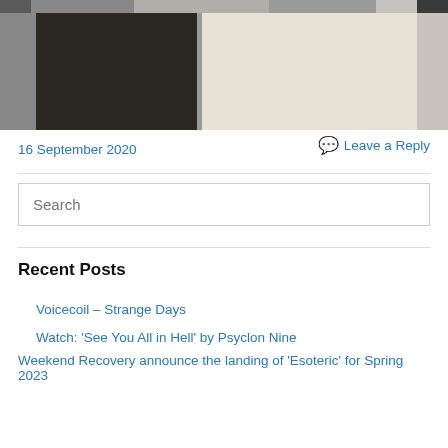[Figure (photo): A scanned open book or album showing a dark/black left page and a light/cream right page, with a gray strip across the top.]
16 September 2020
Leave a Reply
Search
Recent Posts
Voicecoil – Strange Days
Watch: 'See You All in Hell' by Psyclon Nine
Weekend Recovery announce the landing of 'Esoteric' for Spring 2023